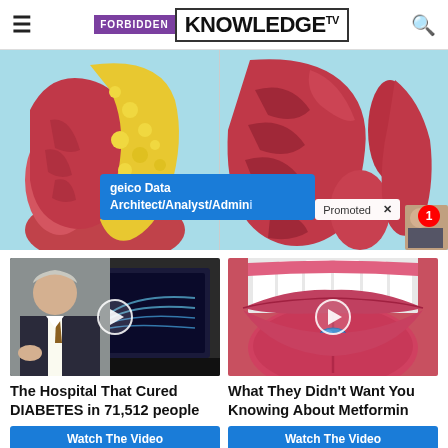FORBIDDEN KNOWLEDGE TV
[Figure (illustration): Medical anatomical illustration showing a side-by-side comparison of tissue cross-sections on a light blue background. Left side shows fatty (yellow) tissue around muscle, right side shows lean muscle tissue. An ad overlay reads 'geico Data Architect/Analyst/Admin' with a 'Promoted' label and X button.]
[Figure (photo): Thumbnail of a man in a suit speaking, with medical imaging screen in background. Play button overlay.]
[Figure (photo): Thumbnail of a person with tongue out holding a blue pill. Play button overlay.]
The Hospital That Cured DIABETES in 71,512 people
Watch The Video
What They Didn't Want You Knowing About Metformin
Watch The Video